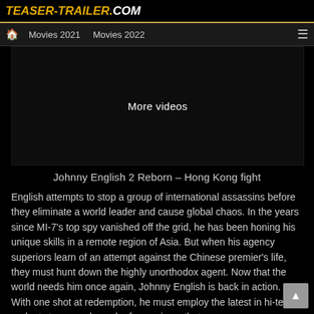TEASER-TRAILER.COM
Movies 2021   Movies 2022
[Figure (screenshot): Black video player area with 'More videos' text in the center]
Johnny English 2 Reborn – Hong Kong fight
English attempts to stop a group of international assassins before they eliminate a world leader and cause global chaos. In the years since MI-7's top spy vanished off the grid, he has been honing his unique skills in a remote region of Asia. But when his agency superiors learn of an attempt against the Chinese premier's life, they must hunt down the highly unorthodox agent. Now that the world needs him once again, Johnny English is back in action. With one shot at redemption, he must employ the latest in hi-tech gadgets to unravel a web of conspiracy that runs...